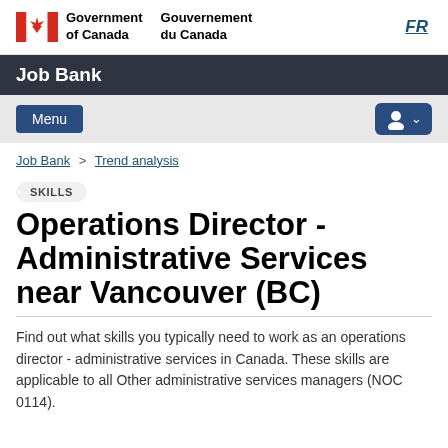Government of Canada | Gouvernement du Canada | FR
Job Bank
Menu
Job Bank > Trend analysis
SKILLS
Operations Director - Administrative Services near Vancouver (BC)
Find out what skills you typically need to work as an operations director - administrative services in Canada. These skills are applicable to all Other administrative services managers (NOC 0114).